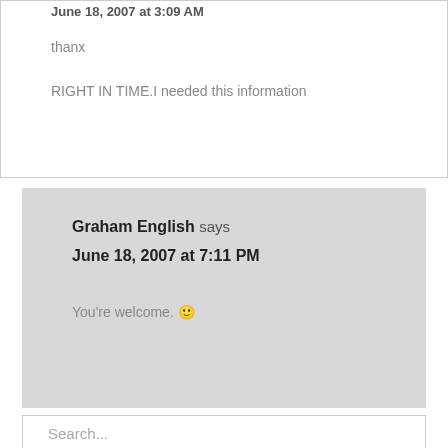June 18, 2007 at 3:09 AM
thanx
RIGHT IN TIME.I needed this information
Graham English says
June 18, 2007 at 7:11 PM
You're welcome. 🙂
Search...